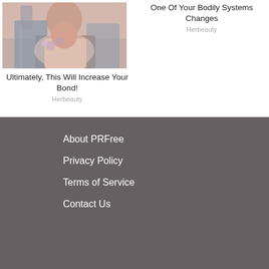[Figure (photo): Person holding flowers, wrapped in a plaid blanket]
Ultimately, This Will Increase Your Bond!
Herbeauty
One Of Your Bodily Systems Changes
Herbeauty
About PRFree
Privacy Policy
Terms of Service
Contact Us